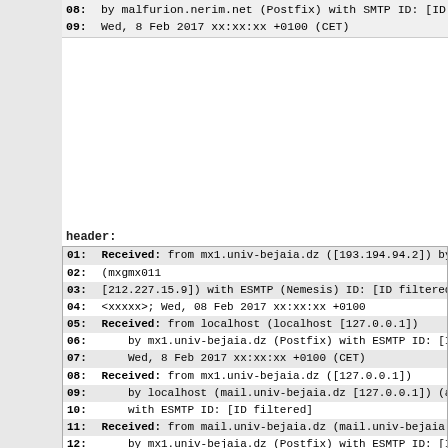08:    by malfurion.nerim.net (Postfix) with SMTP ID: [ID
09:    Wed,  8 Feb 2017 xx:xx:xx +0100 (CET)
header:
01: Received: from mx1.univ-bejaia.dz ([193.194.94.2]) by
02: (mxgmx011
03: [212.227.15.9]) with ESMTP (Nemesis) ID: [ID filtered
04: <xxxxx>; Wed, 08 Feb 2017 xx:xx:xx +0100
05: Received: from localhost (localhost [127.0.0.1])
06:      by mx1.univ-bejaia.dz (Postfix) with ESMTP ID: [ID
07:      Wed,  8 Feb 2017 xx:xx:xx +0100 (CET)
08: Received: from mx1.univ-bejaia.dz ([127.0.0.1])
09:      by localhost (mail.univ-bejaia.dz [127.0.0.1]) (am
10:      with ESMTP ID: [ID filtered]
11: Received: from mail.univ-bejaia.dz (mail.univ-bejaia.d
12:      by mx1.univ-bejaia.dz (Postfix) with ESMTP ID: [ID
13:      Wed,  8 Feb 2017 xx:xx:xx +0100 (CET)
gecrackt:
kjz1